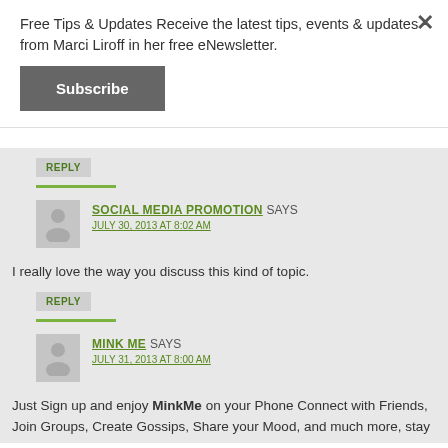Free Tips & Updates Receive the latest tips, events & updates from Marci Liroff in her free eNewsletter.
Subscribe
REPLY
SOCIAL MEDIA PROMOTION SAYS
JULY 30, 2013 AT 8:02 AM
I really love the way you discuss this kind of topic.
REPLY
MINK ME SAYS
JULY 31, 2013 AT 8:00 AM
Just Sign up and enjoy MinkMe on your Phone Connect with Friends, Join Groups, Create Gossips, Share your Mood, and much more, stay